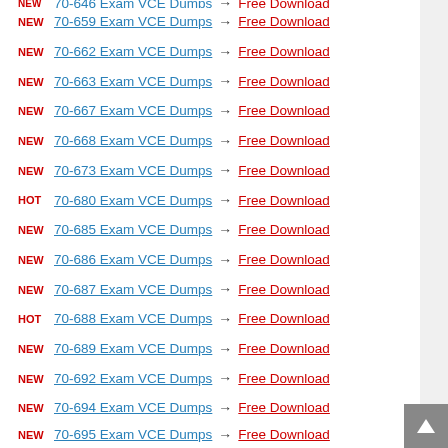NEW 70-646 Exam VCE Dumps → Free Download (partially cut)
NEW 70-659 Exam VCE Dumps → Free Download
NEW 70-662 Exam VCE Dumps → Free Download
NEW 70-663 Exam VCE Dumps → Free Download
NEW 70-667 Exam VCE Dumps → Free Download
NEW 70-668 Exam VCE Dumps → Free Download
NEW 70-673 Exam VCE Dumps → Free Download
HOT 70-680 Exam VCE Dumps → Free Download
NEW 70-685 Exam VCE Dumps → Free Download
NEW 70-686 Exam VCE Dumps → Free Download
NEW 70-687 Exam VCE Dumps → Free Download
HOT 70-688 Exam VCE Dumps → Free Download
NEW 70-689 Exam VCE Dumps → Free Download
NEW 70-692 Exam VCE Dumps → Free Download
NEW 70-694 Exam VCE Dumps → Free Download
NEW 70-695 Exam VCE Dumps → Free Download (partially cut)